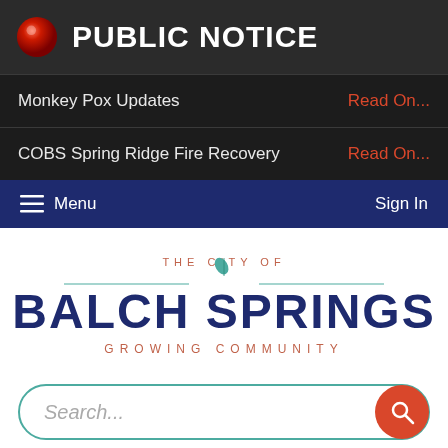PUBLIC NOTICE
Monkey Pox Updates — Read On...
COBS Spring Ridge Fire Recovery — Read On...
Menu  Sign In
[Figure (logo): THE CITY OF BALCH SPRINGS GROWING COMMUNITY city logo with decorative lines and leaf icon]
Search...
Select Language